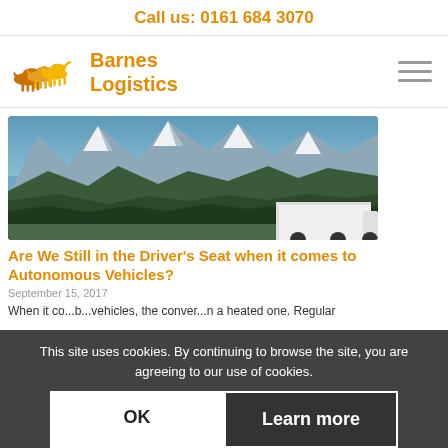Call us: 0161 684 3070
[Figure (logo): Barnes Logistics logo with galloping horses in orange/yellow, text 'Barnes Logistics' in orange]
[Figure (photo): Mountain landscape with snow-capped peaks, conifer forests, and a white truck/lorry trailer visible at the bottom right]
Are We Still in the Driver's Seat when it comes to Autonomous Vehicles?
September 15, 2017
When it co...b...vehicles, the conver...n a heated one. Regular
This site uses cookies. By continuing to browse the site, you are agreeing to our use of cookies.